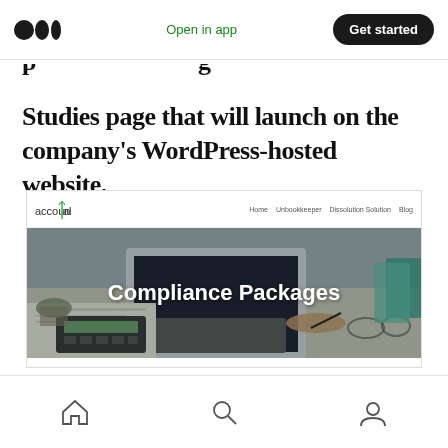Medium app header with logo, Open in app, Get started
Studies page that will launch on the company's WordPress-hosted website.
[Figure (screenshot): Screenshot of AccountTalent website showing Compliance Packages page with hero image of person writing with calculator and laptop, and two package cards: CORE (Tax and Accounting Outsourcing) and LAUNCH (Tax and Accounting Outsourcing + R&D Study) with prices partially visible]
Mobile navigation bar with home, search, and profile icons